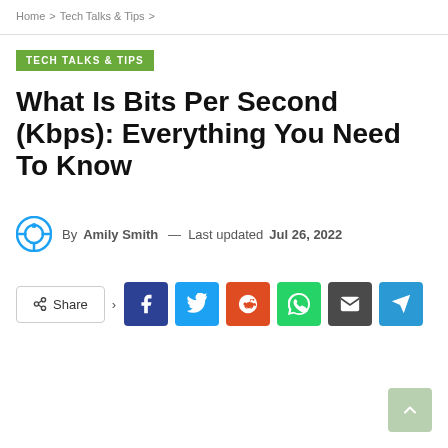Home > Tech Talks & Tips >
TECH TALKS & TIPS
What Is Bits Per Second (Kbps): Everything You Need To Know
By Amily Smith — Last updated Jul 26, 2022
[Figure (infographic): Social share buttons: Facebook, Twitter, Reddit, WhatsApp, Email, Telegram]